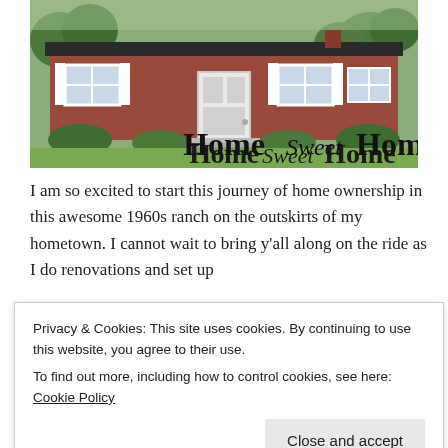[Figure (photo): A 1960s ranch-style brick house with green lawn, white door, shuttered windows, and trees in background. Overlaid text reads 'Home Sweet Home' in a mix of serif and script fonts.]
I am so excited to start this journey of home ownership in this awesome 1960s ranch on the outskirts of my hometown. I cannot wait to bring y'all along on the ride as I do renovations and set up
Privacy & Cookies: This site uses cookies. By continuing to use this website, you agree to their use.
To find out more, including how to control cookies, see here: Cookie Policy
am ready to put down roots and finally feel settled